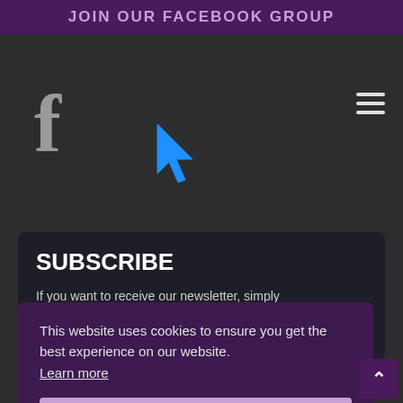JOIN OUR FACEBOOK GROUP
[Figure (logo): Facebook 'f' logo in grey on dark background with blue cursor arrow overlay, and hamburger menu icon in top right]
SUBSCRIBE
If you want to receive our newsletter, simply provide your email in the box below. You will then ... hich
This website uses cookies to ensure you get the best experience on our website. Learn more
Got it!